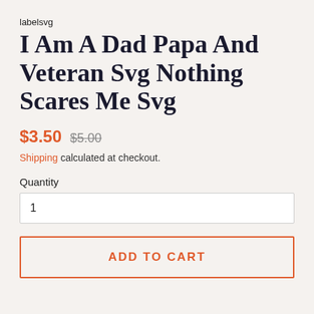labelsvg
I Am A Dad Papa And Veteran Svg Nothing Scares Me Svg
$3.50  $5.00
Shipping calculated at checkout.
Quantity
1
ADD TO CART